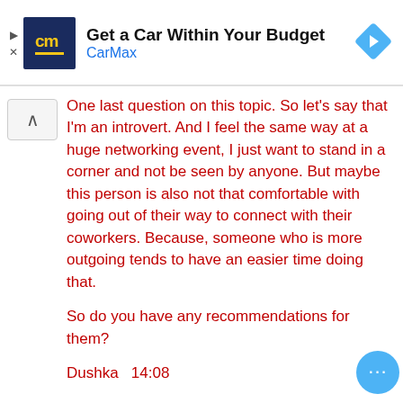[Figure (screenshot): CarMax advertisement banner with logo, title 'Get a Car Within Your Budget', subtitle 'CarMax', and a blue navigation arrow icon]
One last question on this topic. So let's say that I'm an introvert. And I feel the same way at a huge networking event, I just want to stand in a corner and not be seen by anyone. But maybe this person is also not that comfortable with going out of their way to connect with their coworkers. Because, someone who is more outgoing tends to have an easier time doing that.

So do you have any recommendations for them?

Dushka  14:08